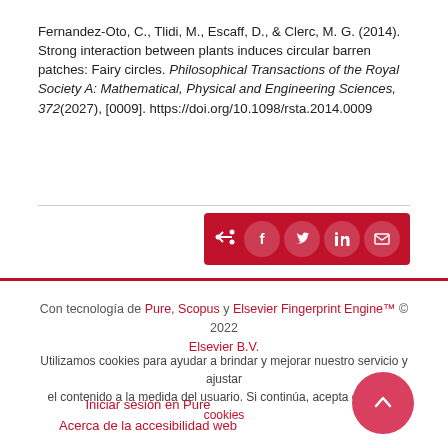Fernandez-Oto, C., Tlidi, M., Escaff, D., & Clerc, M. G. (2014). Strong interaction between plants induces circular barren patches: Fairy circles. Philosophical Transactions of the Royal Society A: Mathematical, Physical and Engineering Sciences, 372(2027), [0009]. https://doi.org/10.1098/rsta.2014.0009
[Figure (other): Share bar with social media icons: share, Facebook, Twitter, LinkedIn, email]
Con tecnología de Pure, Scopus y Elsevier Fingerprint Engine™ © 2022 Elsevier B.V.
Utilizamos cookies para ayudar a brindar y mejorar nuestro servicio y ajustar el contenido a la medida del usuario. Si continúa, acepta el uso de cookies
Iniciar sesión en Pure
Acerca de la accesibilidad web